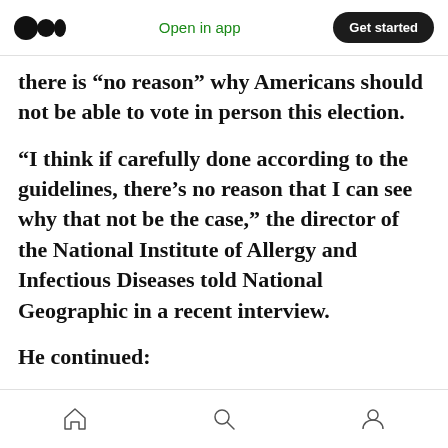Medium logo | Open in app | Get started
there is “no reason” why Americans should not be able to vote in person this election.
“I think if carefully done according to the guidelines, there’s no reason that I can see why that not be the case,” the director of the National Institute of Allergy and Infectious Diseases told National Geographic in a recent interview.
He continued:
For example, when you look at going to a
Home | Search | Profile